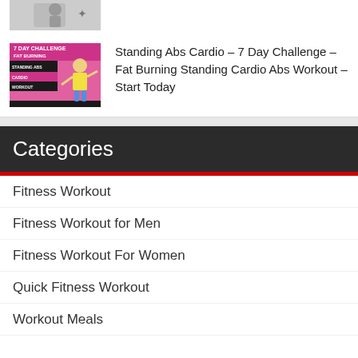[Figure (photo): Partial view of a person at the top of the page, cropped thumbnail image]
[Figure (photo): 7 Day Challenge Fat Burning Standing Abs Cardio Workout thumbnail with pink background and female figure]
Standing Abs Cardio – 7 Day Challenge – Fat Burning Standing Cardio Abs Workout – Start Today
Categories
Fitness Workout
Fitness Workout for Men
Fitness Workout For Women
Quick Fitness Workout
Workout Meals